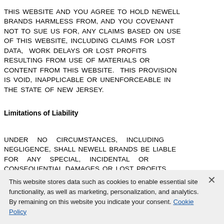THIS WEBSITE AND YOU AGREE TO HOLD NEWELL BRANDS HARMLESS FROM, AND YOU COVENANT NOT TO SUE US FOR, ANY CLAIMS BASED ON USE OF THIS WEBSITE, INCLUDING CLAIMS FOR LOST DATA, WORK DELAYS OR LOST PROFITS RESULTING FROM USE OF MATERIALS OR CONTENT FROM THIS WEBSITE. THIS PROVISION IS VOID, INAPPLICABLE OR UNENFORCEABLE IN THE STATE OF NEW JERSEY.
Limitations of Liability
UNDER NO CIRCUMSTANCES, INCLUDING NEGLIGENCE, SHALL NEWELL BRANDS BE LIABLE FOR ANY SPECIAL, INCIDENTAL OR CONSEQUENTIAL DAMAGES OR LOST PROFITS THAT RESULT FROM THE DISTRIBUTION OR USE OF, OR THE INABILITY TO USE, THE CONTENT OR
This website stores data such as cookies to enable essential site functionality, as well as marketing, personalization, and analytics. By remaining on this website you indicate your consent. Cookie Policy